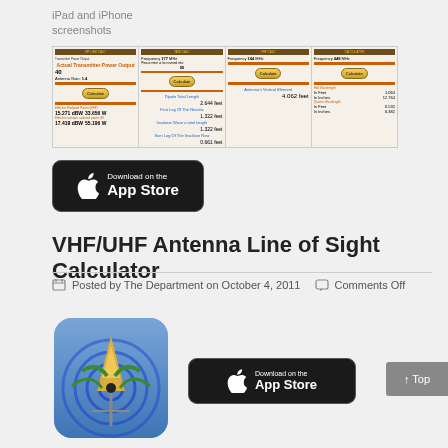iPad and iPhone screenshots
[Figure (screenshot): Four app screenshots showing RF calculators with frequency inputs (177, 144, 448 MHz), Calculate buttons, and antenna measurement results in feet and inches]
[Figure (screenshot): Download on the App Store button (black)]
VHF/UHF Antenna Line of Sight Calculator
Posted by The Department on October 4, 2011   Comments Off
[Figure (screenshot): Antenna app icon showing antenna graphic with signal waves on blue/green background]
[Figure (screenshot): Download on the App Store button (black)]
↑ Top